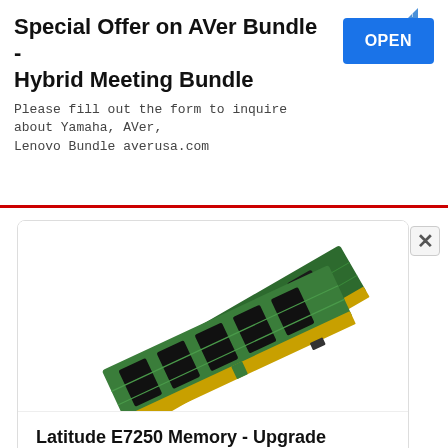Special Offer on AVer Bundle - Hybrid Meeting Bundle
Please fill out the form to inquire about Yamaha, AVer, Lenovo Bundle averusa.com
[Figure (photo): Two green RAM memory sticks/modules overlapping on white background]
Latitude E7250 Memory - Upgrade Performance
amazon.com    Visit Site >